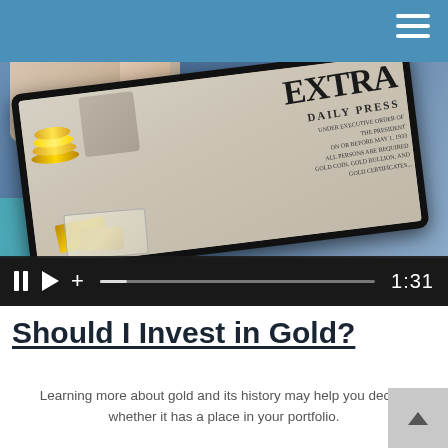[Figure (screenshot): A video thumbnail showing hands holding a tablet displaying a newspaper with gold coins and currency, with a video playback controls bar showing pause, play, plus buttons and a progress bar with timestamp 1:31]
Should I Invest in Gold?
Learning more about gold and its history may help you decide whether it has a place in your portfolio.